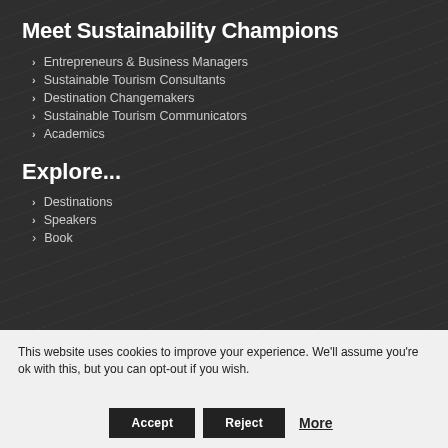Meet Sustainability Champions
Entrepreneurs & Business Managers
Sustainable Tourism Consultants
Destination Changemakers
Sustainable Tourism Communicators
Academics
Explore...
Destinations
Speakers
Book
This website uses cookies to improve your experience. We'll assume you're ok with this, but you can opt-out if you wish.
Accept | Reject | More